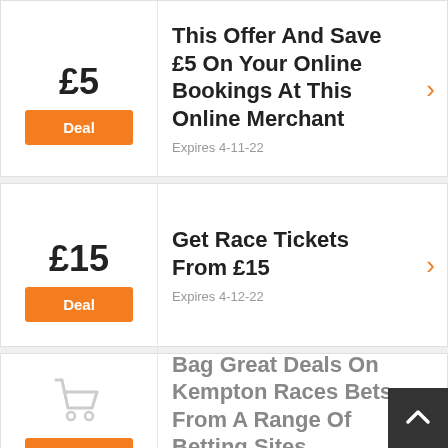[Figure (other): Deal card 1: £5 discount badge with orange Deal button, title text '...This Offer And Save £5 On Your Online Bookings At This Online Merchant', expires 4-11-22]
[Figure (other): Deal card 2: £15 discount badge with orange Deal button, title 'Get Race Tickets From £15', expires 4-12-22]
[Figure (other): Deal card 3: shopping cart icon with orange Deal button, title 'Bag Great Deals On Kempton Races Bets From A Range Of Betting Sites', no expiry shown]